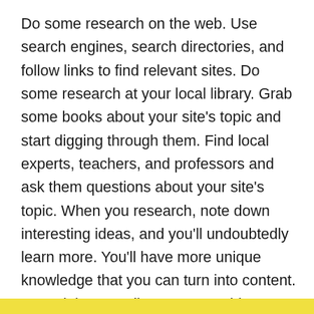Do some research on the web. Use search engines, search directories, and follow links to find relevant sites. Do some research at your local library. Grab some books about your site's topic and start digging through them. Find local experts, teachers, and professors and ask them questions about your site's topic. When you research, note down interesting ideas, and you'll undoubtedly learn more. You'll have more unique knowledge that you can turn into content. You might even discover something earth-shattering!